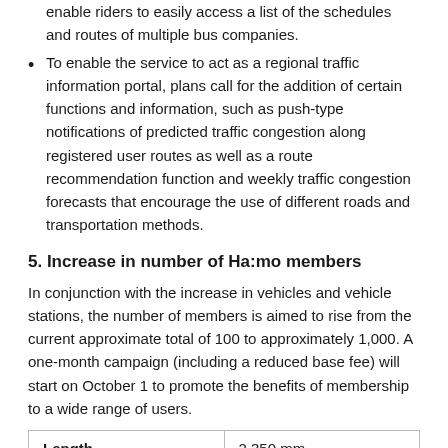enable riders to easily access a list of the schedules and routes of multiple bus companies.
To enable the service to act as a regional traffic information portal, plans call for the addition of certain functions and information, such as push-type notifications of predicted traffic congestion along registered user routes as well as a route recommendation function and weekly traffic congestion forecasts that encourage the use of different roads and transportation methods.
5. Increase in number of Ha:mo members
In conjunction with the increase in vehicles and vehicle stations, the number of members is aimed to rise from the current approximate total of 100 to approximately 1,000. A one-month campaign (including a reduced base fee) will start on October 1 to promote the benefits of membership to a wide range of users.
| Length | 2,350 mm |
| --- | --- |